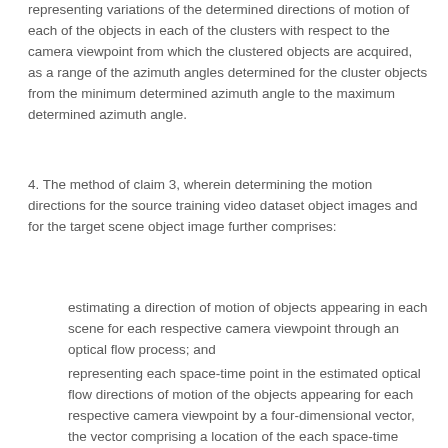representing variations of the determined directions of motion of each of the objects in each of the clusters with respect to the camera viewpoint from which the clustered objects are acquired, as a range of the azimuth angles determined for the cluster objects from the minimum determined azimuth angle to the maximum determined azimuth angle.
4. The method of claim 3, wherein determining the motion directions for the source training video dataset object images and for the target scene object image further comprises:
estimating a direction of motion of objects appearing in each scene for each respective camera viewpoint through an optical flow process; and
representing each space-time point in the estimated optical flow directions of motion of the objects appearing for each respective camera viewpoint by a four-dimensional vector, the vector comprising a location of the each space-time point in an image plane, a magnitude and a direction of its optical flow; and